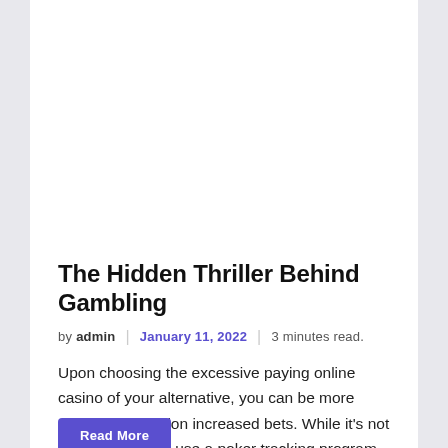The Hidden Thriller Behind Gambling
by admin | January 11, 2022 | 3 minutes read.
Upon choosing the excessive paying online casino of your alternative, you can be more assured to position increased bets. While it's not 100% needed to use a poker tracking program [...]